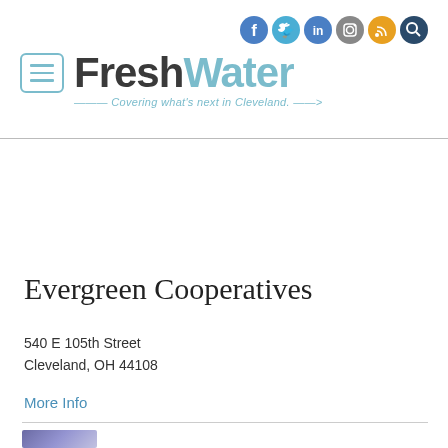[Figure (screenshot): Social media icons row: Facebook (blue), Twitter (blue), LinkedIn (blue), Instagram (grey), RSS (orange), Search (dark blue)]
[Figure (logo): FreshWater Cleveland logo with hamburger menu icon and tagline 'Covering what's next in Cleveland.']
Evergreen Cooperatives
540 E 105th Street
Cleveland, OH 44108
More Info